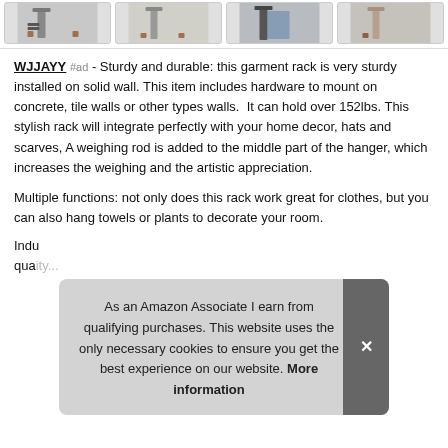[Figure (photo): Four thumbnail product images of a garment rack shown from different angles/contexts]
WJJAYY #ad - Sturdy and durable: this garment rack is very sturdy installed on solid wall. This item includes hardware to mount on concrete, tile walls or other types walls. It can hold over 152lbs. This stylish rack will integrate perfectly with your home decor, hats and scarves, A weighing rod is added to the middle part of the hanger, which increases the weighing and the artistic appreciation.
Multiple functions: not only does this rack work great for clothes, but you can also hang towels or plants to decorate your room.
Indu... quality...
As an Amazon Associate I earn from qualifying purchases. This website uses the only necessary cookies to ensure you get the best experience on our website. More information